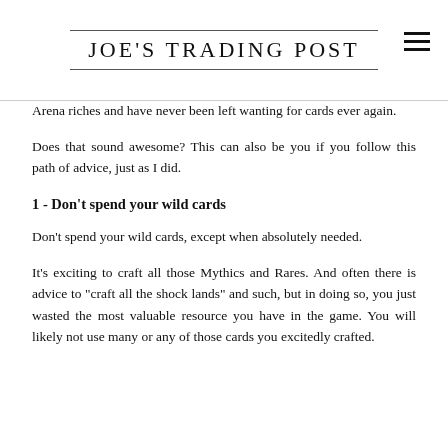JOE'S TRADING POST
Arena riches and have never been left wanting for cards ever again.
Does that sound awesome? This can also be you if you follow this path of advice, just as I did.
1 - Don't spend your wild cards
Don't spend your wild cards, except when absolutely needed.
It's exciting to craft all those Mythics and Rares. And often there is advice to "craft all the shock lands" and such, but in doing so, you just wasted the most valuable resource you have in the game. You will likely not use many or any of those cards you excitedly crafted.